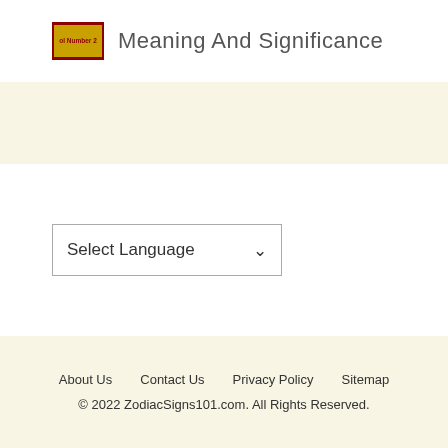[Figure (illustration): Small thumbnail image with red border and text 'ol Number 2' visible, partially cropped]
Meaning And Significance
Select Language
About Us   Contact Us   Privacy Policy   Sitemap
© 2022 ZodiacSigns101.com. All Rights Reserved.